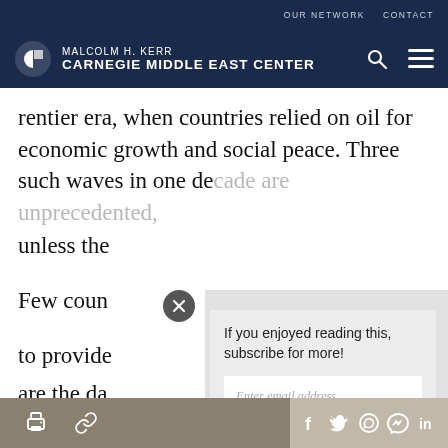OUR NETWORK   CONTACT
MALCOLM H. KERR CARNEGIE MIDDLE EAST CENTER
rentier era, when countries relied on oil for economic growth and social peace. Three such waves in one de... unless the...
If you enjoyed reading this, subscribe for more!
Few coun... to provide... are the da... states to b...
[Share icons: print, link, facebook, twitter, whatsapp, messenger, linkedin]